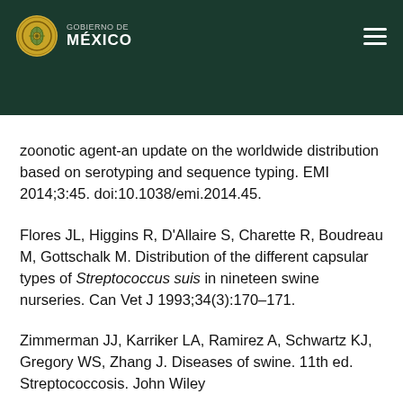GOBIERNO DE MÉXICO
zoonotic agent-an update on the worldwide distribution based on serotyping and sequence typing. EMI 2014;3:45. doi:10.1038/emi.2014.45.
Flores JL, Higgins R, D'Allaire S, Charette R, Boudreau M, Gottschalk M. Distribution of the different capsular types of Streptococcus suis in nineteen swine nurseries. Can Vet J 1993;34(3):170–171.
Zimmerman JJ, Karriker LA, Ramirez A, Schwartz KJ, Gregory WS, Zhang J. Diseases of swine. 11th ed. Streptococcosis. John Wiley